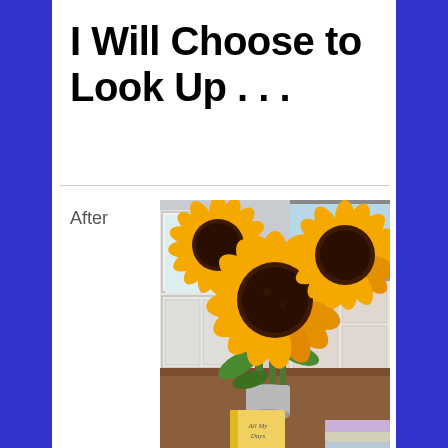I Will Choose to Look Up . . .
After
[Figure (photo): A bouquet of large yellow sunflowers with dark brown centers in a vase on a wooden table. In the background is a white kitchen with cabinets. A yellow book titled 'All My Days' is visible at the bottom of the image.]